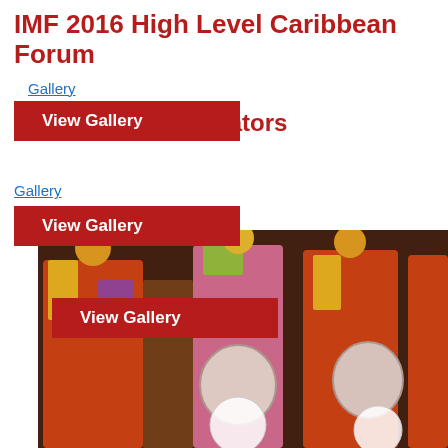IMF 2016 High Level Caribbean Forum
Gallery
Swearing in of Senators
Gallery
Divali Nagar 2016
[Figure (photo): Group of performers in colorful traditional costumes with drums, at a Divali Nagar 2016 event. People wearing bright multi-colored outfits with decorative headpieces.]
View Gallery